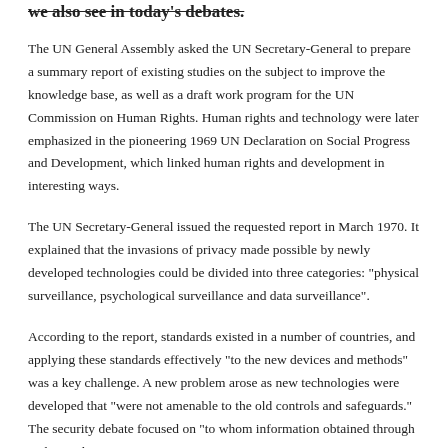we also see in today's debates.
The UN General Assembly asked the UN Secretary-General to prepare a summary report of existing studies on the subject to improve the knowledge base, as well as a draft work program for the UN Commission on Human Rights. Human rights and technology were later emphasized in the pioneering 1969 UN Declaration on Social Progress and Development, which linked human rights and development in interesting ways.
The UN Secretary-General issued the requested report in March 1970. It explained that the invasions of privacy made possible by newly developed technologies could be divided into three categories: "physical surveillance, psychological surveillance and data surveillance".
According to the report, standards existed in a number of countries, and applying these standards effectively "to the new devices and methods" was a key challenge. A new problem arose as new technologies were developed that "were not amenable to the old controls and safeguards." The security debate focused on "to whom information obtained through authorized